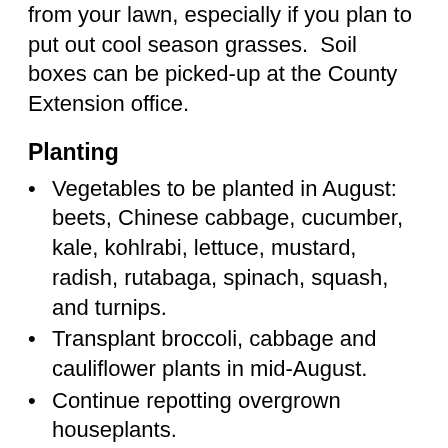from your lawn, especially if you plan to put out cool season grasses. Soil boxes can be picked-up at the County Extension office.
Planting
Vegetables to be planted in August: beets, Chinese cabbage, cucumber, kale, kohlrabi, lettuce, mustard, radish, rutabaga, spinach, squash, and turnips.
Transplant broccoli, cabbage and cauliflower plants in mid-August.
Continue repotting overgrown houseplants.
Plant pansy seeds in flats this month so they can be transplanted to the landscape in September.